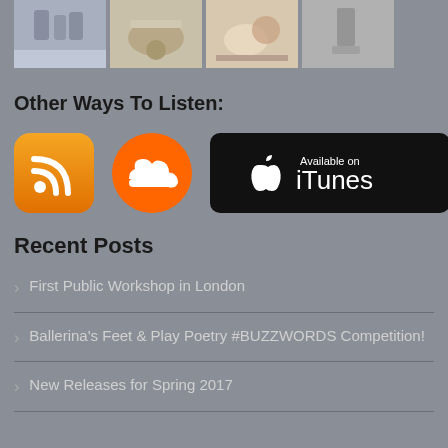[Figure (photo): Strip of four thumbnail photos at top of page: people walking, food/dining, tea/breakfast, person standing]
Other Ways To Listen:
[Figure (infographic): Three icons in a row: RSS feed icon (orange rounded square), SoundCloud icon (orange circle with cloud), iTunes badge (black rounded rectangle with Apple logo and 'Available on iTunes')]
Recent Posts
First Public Workshop in London
Ballerina's Feet & Play Poetry #BUZZWORDS Competition!
New Releases for Spring 2017